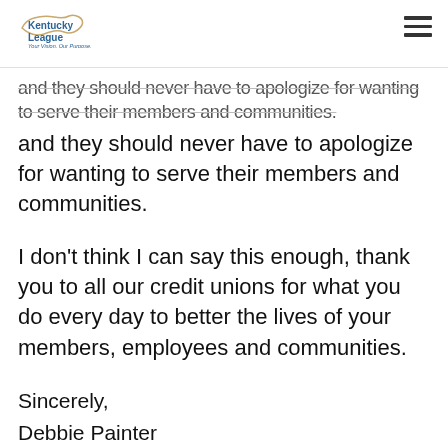Kentucky League — Your Vision. Our Purpose.
and they should never have to apologize for wanting to serve their members and communities.
I don't think I can say this enough, thank you to all our credit unions for what you do every day to better the lives of your members, employees and communities.
Sincerely,
Debbie Painter
League President